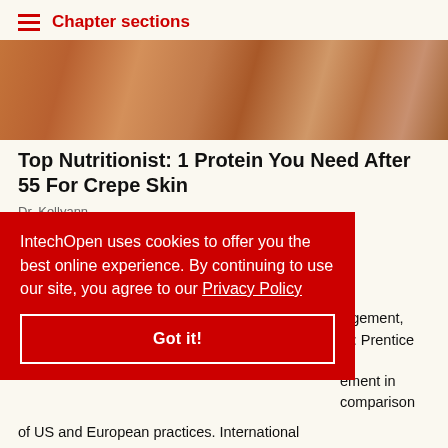Chapter sections
[Figure (photo): Close-up photo of human skin, showing texture and tones in brown/salmon colors]
Top Nutritionist: 1 Protein You Need After 55 For Crepe Skin
Dr. Kellyann
References
...nagement, NJ: Prentice
IntechOpen uses cookies to offer you the best online experience. By continuing to use our site, you agree to our Privacy Policy
Got it!
...ement in ...comparison of US and European practices. International